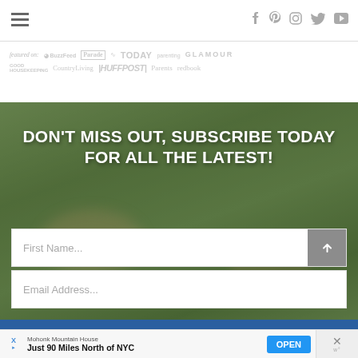Navigation header with hamburger menu and social icons (Facebook, Pinterest, Instagram, Twitter, YouTube)
[Figure (logo): Featured on: BuzzFeed, Parade, TODAY, parenting, GLAMOUR, GOOD HOUSEKEEPING, CountryLiving, HUFFPOST, Parents, redbook logos in gray]
[Figure (photo): Green outdoor background with blurred hands/feet, hero section]
DON'T MISS OUT, SUBSCRIBE TODAY FOR ALL THE LATEST!
First Name...
Email Address...
[Figure (infographic): Advertisement banner: Mohonk Mountain House - Just 90 Miles North of NYC - OPEN button]